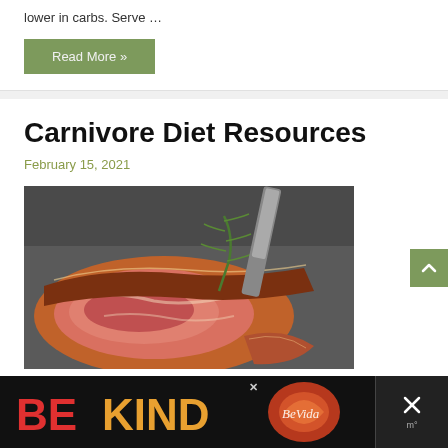lower in carbs. Serve …
Read More »
Carnivore Diet Resources
February 15, 2021
[Figure (photo): Sliced grilled steak with rosemary garnish on a dark plate with knife]
BE KIND